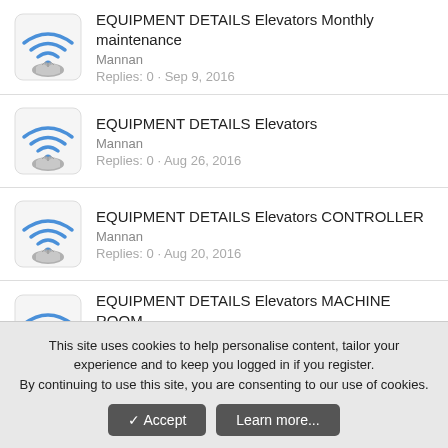EQUIPMENT DETAILS Elevators Monthly maintenance
Mannan
Replies: 0 · Sep 9, 2016
EQUIPMENT DETAILS Elevators
Mannan
Replies: 0 · Aug 26, 2016
EQUIPMENT DETAILS Elevators CONTROLLER
Mannan
Replies: 0 · Aug 20, 2016
EQUIPMENT DETAILS Elevators MACHINE ROOM
Mannan
Replies: 0 · Aug 19, 2016
This site uses cookies to help personalise content, tailor your experience and to keep you logged in if you register.
By continuing to use this site, you are consenting to our use of cookies.
[Accept] [Learn more...]